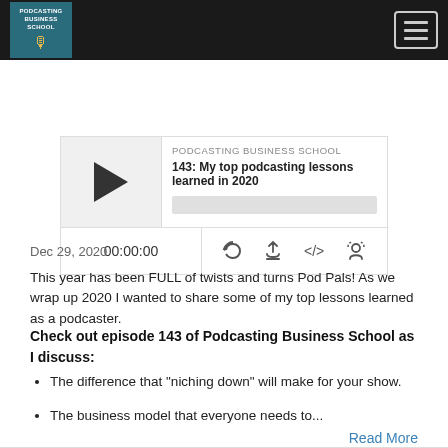PODCASTING BUSINESS SCHOOL
[Figure (screenshot): Podcast player widget for episode 143: My top podcasting lessons learned in 2020, showing play button, episode title, progress bar, time display 00:00:00, and control icons]
Dec 29, 2020
This year has been FULL of twists and turns Pod Pals! As we wrap up 2020 I wanted to share some of my top lessons learned as a podcaster.
Check out episode 143 of Podcasting Business School as I discuss:
The difference that "niching down" will make for your show.
The business model that everyone needs to...
Read More